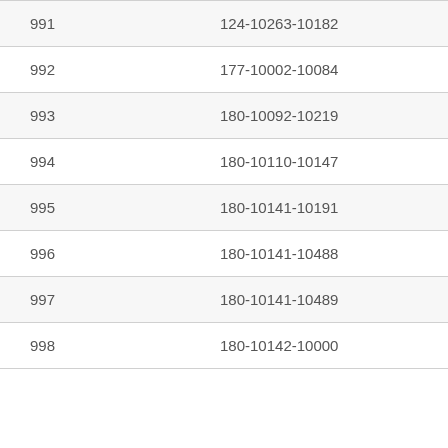| 991 | 124-10263-10182 |
| 992 | 177-10002-10084 |
| 993 | 180-10092-10219 |
| 994 | 180-10110-10147 |
| 995 | 180-10141-10191 |
| 996 | 180-10141-10488 |
| 997 | 180-10141-10489 |
| 998 | 180-10142-10000 |